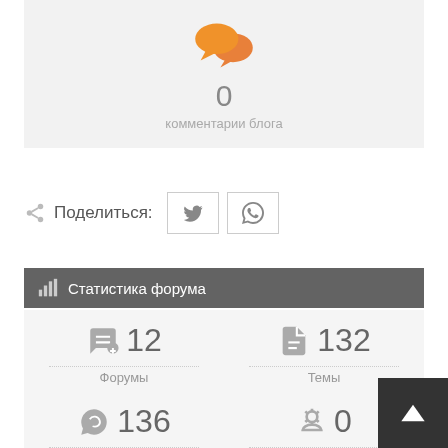[Figure (illustration): Orange chat/comment bubble icon]
0
комментарии блога
Поделиться:
[Figure (illustration): Twitter and WhatsApp share buttons]
Статистика форума
12 Форумы
132 Темы
136 Сообщения
0 В сети